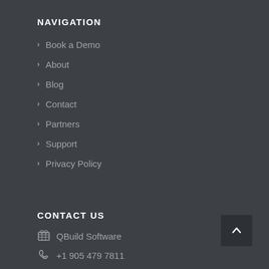NAVIGATION
Book a Demo
About
Blog
Contact
Partners
Support
Privacy Policy
CONTACT US
QBuild Software
+1 905 479 7811
+1 905 479 2636